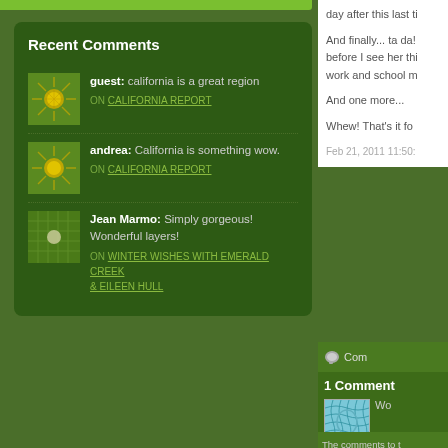Recent Comments
guest: california is a great region ON CALIFORNIA REPORT
andrea: California is something wow. ON CALIFORNIA REPORT
Jean Marmo: Simply gorgeous! Wonderful layers! ON WINTER WISHES WITH EMERALD CREEK & EILEEN HULL
day after this last ti
And finally... ta da! before I see her thi work and school m
And one more...
Whew!  That's it fo
Feb 21, 2011 11:50:
Com
1 Comment
Wo
The comments to t